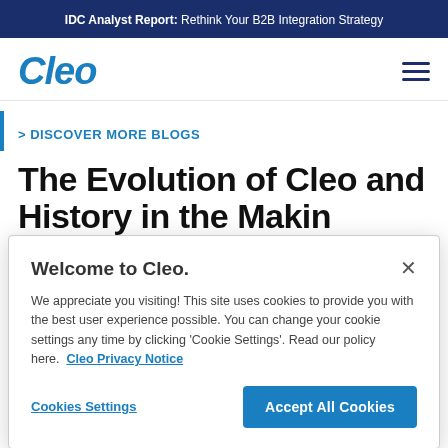IDC Analyst Report: Rethink Your B2B Integration Strategy
[Figure (logo): Cleo logo in blue italic bold text]
> DISCOVER MORE BLOGS
The Evolution of Cleo and
Welcome to Cleo.
We appreciate you visiting! This site uses cookies to provide you with the best user experience possible. You can change your cookie settings any time by clicking 'Cookie Settings'. Read our policy here. Cleo Privacy Notice
Cookies Settings
Accept All Cookies